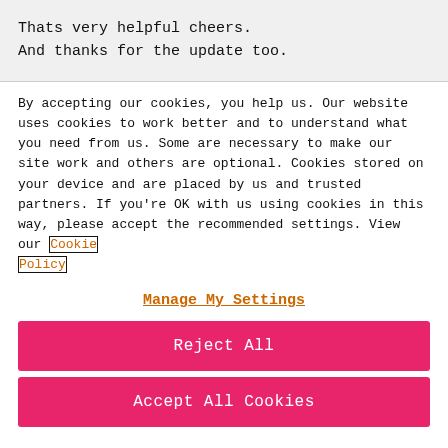Thats very helpful cheers.
And thanks for the update too.
By accepting our cookies, you help us. Our website uses cookies to work better and to understand what you need from us. Some are necessary to make our site work and others are optional. Cookies stored on your device and are placed by us and trusted partners. If you're OK with us using cookies in this way, please accept the recommended settings. View our Cookie Policy
Manage My Settings
Reject All
Accept All Cookies